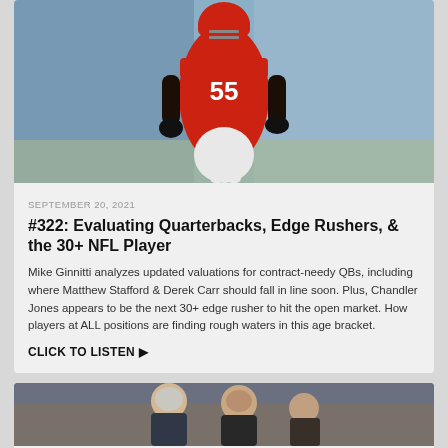[Figure (photo): NFL football player wearing red jersey number 55, running on field with blue-uniformed players in background]
SEPTEMBER 20, 2021
#322: Evaluating Quarterbacks, Edge Rushers, & the 30+ NFL Player
Mike Ginnitti analyzes updated valuations for contract-needy QBs, including where Matthew Stafford & Derek Carr should fall in line soon. Plus, Chandler Jones appears to be the next 30+ edge rusher to hit the open market. How players at ALL positions are finding rough waters in this age bracket.
CLICK TO LISTEN ▶
[Figure (photo): Two people at what appears to be a sports broadcast or event setting]